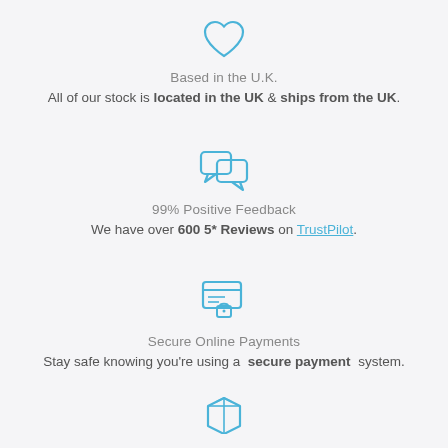[Figure (illustration): Heart icon outline in blue]
Based in the U.K.
All of our stock is located in the UK & ships from the UK.
[Figure (illustration): Speech bubble / chat icon outline in blue]
99% Positive Feedback
We have over 600 5* Reviews on TrustPilot.
[Figure (illustration): Secure card / lock icon outline in blue]
Secure Online Payments
Stay safe knowing you're using a secure payment system.
[Figure (illustration): Package / box icon outline in blue]